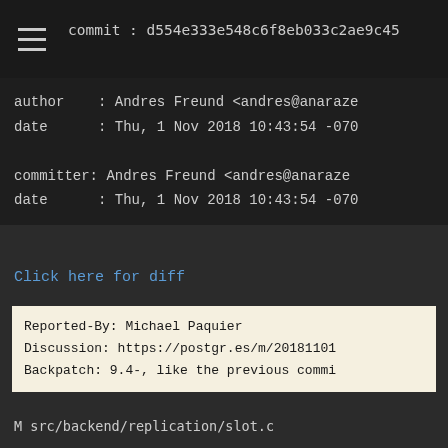commit : d554e333e548c6f8eb033c2ae9c45
author    : Andres Freund <andres@anaraze
date      : Thu, 1 Nov 2018 10:43:54 -070

committer: Andres Freund <andres@anaraze
date      : Thu, 1 Nov 2018 10:43:54 -070
Click here for diff
Reported-By: Michael Paquier
Discussion: https://postgr.es/m/20181101
Backpatch: 9.4-, like the previous commi
M src/backend/replication/slot.c
Disallow starting server with insufficient wal level for existing